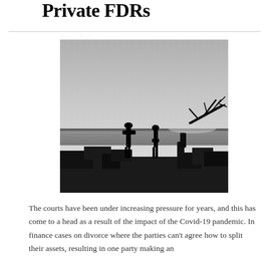Private FDRs
[Figure (photo): Black and white photograph of two silhouetted figures standing apart from each other on rocky ruins by a waterfront at dusk, with a bare dead tree branch visible to the right.]
The courts have been under increasing pressure for years, and this has come to a head as a result of the impact of the Covid-19 pandemic. In finance cases on divorce where the parties can't agree how to split their assets, resulting in one party making an